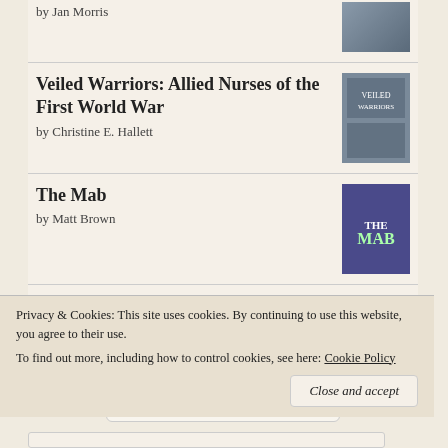by Jan Morris
[Figure (photo): Book cover thumbnail at top right, partially visible]
Veiled Warriors: Allied Nurses of the First World War
by Christine E. Hallett
[Figure (photo): Book cover for Veiled Warriors]
The Mab
by Matt Brown
[Figure (photo): Book cover for The Mab]
An Artificial Night
by Seanan McGuire
[Figure (photo): Book cover for An Artificial Night]
[Figure (logo): Goodreads logo in rounded rectangle]
Privacy & Cookies: This site uses cookies. By continuing to use this website, you agree to their use.
To find out more, including how to control cookies, see here: Cookie Policy
Close and accept